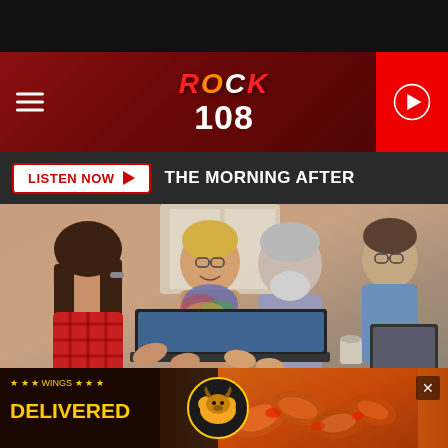[Figure (logo): Rock 108 radio station logo with stylized text on dark red background with hamburger menu and play button]
LISTEN NOW ▶  THE MORNING AFTER
[Figure (photo): Group of people of different ages gathered around a laptop, smiling and interacting. Getty Images watermark in bottom right.]
Getty Images
[Figure (infographic): Buffalo Wild Wings advertisement banner: '★ ★ ★ WINGS ★ ★ ★ DELIVERED' with BWW logo and chicken wings photo]